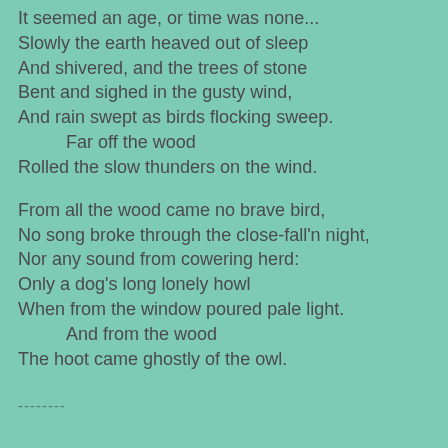It seemed an age, or time was none...
Slowly the earth heaved out of sleep
And shivered, and the trees of stone
Bent and sighed in the gusty wind,
And rain swept as birds flocking sweep.
    Far off the wood
Rolled the slow thunders on the wind.

From all the wood came no brave bird,
No song broke through the close-fall'n night,
Nor any sound from cowering herd:
Only a dog's long lonely howl
When from the window poured pale light.
    And from the wood
The hoot came ghostly of the owl.
--------
I was in the mood for a sword poem because younger son and I watched The Man in the Iron Mask, which I had managed never to see before for reasons that utterly elude me. My two young second cousins (young in the sense that